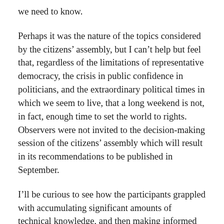we need to know.
Perhaps it was the nature of the topics considered by the citizens' assembly, but I can't help but feel that, regardless of the limitations of representative democracy, the crisis in public confidence in politicians, and the extraordinary political times in which we seem to live, that a long weekend is not, in fact, enough time to set the world to rights. Observers were not invited to the decision-making session of the citizens' assembly which will result in its recommendations to be published in September.
I'll be curious to see how the participants grappled with accumulating significant amounts of technical knowledge, and then making informed choices based upon it, in such a short time. The true tests, if citizens' assemblies are to become a part of Welsh democracy, is how they are connected to...